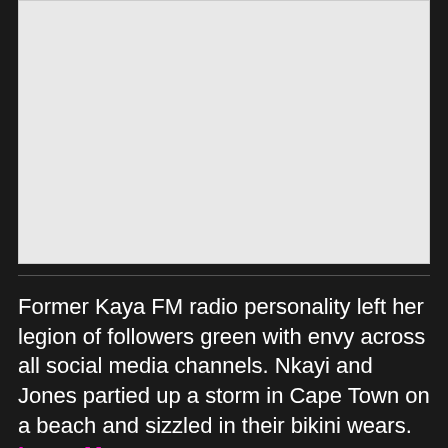[Figure (photo): Light gray image placeholder area]
Former Kaya FM radio personality left her legion of followers green with envy across all social media channels. Nkayi and Jones partied up a storm in Cape Town on a beach and sizzled in their bikini wears. Learn More